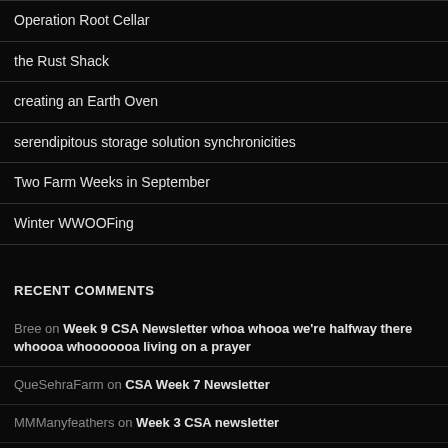Operation Root Cellar
the Rust Shack
creating an Earth Oven
serendipitous storage solution synchronicities
Two Farm Weeks in September
Winter WWOOFing
RECENT COMMENTS
Bree on Week 9 CSA Newsletter whoa whooa we're halfway there whoooa whooooooa living on a prayer
QueSehraFarm on CSA Week 7 Newsletter
MMManyfeathers on Week 3 CSA newsletter